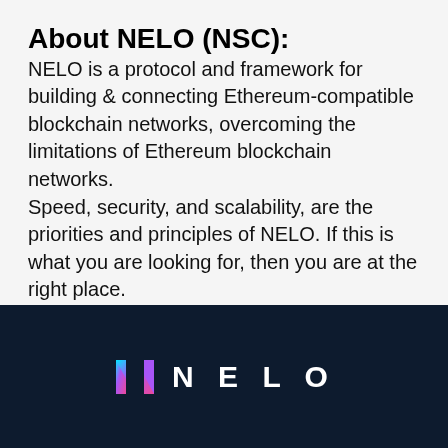About NELO (NSC):
NELO is a protocol and framework for building & connecting Ethereum-compatible blockchain networks, overcoming the limitations of Ethereum blockchain networks.
Speed, security, and scalability, are the priorities and principles of NELO. If this is what you are looking for, then you are at the right place.
[Figure (logo): NELO logo with colorful N icon and white NELO text on dark navy background]